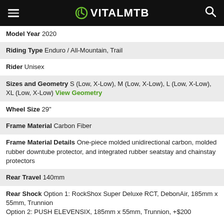VITALMTB
Model Year 2020
Riding Type Enduro / All-Mountain, Trail
Rider Unisex
Sizes and Geometry S (Low, X-Low), M (Low, X-Low), L (Low, X-Low), XL (Low, X-Low) View Geometry
Wheel Size 29"
Frame Material Carbon Fiber
Frame Material Details One-piece molded unidirectional carbon, molded rubber downtube protector, and integrated rubber seatstay and chainstay protectors
Rear Travel 140mm
Rear Shock Option 1: RockShox Super Deluxe RCT, DebonAir, 185mm x 55mm, Trunnion
Option 2: PUSH ELEVENSIX, 185mm x 55mm, Trunnion, +$200